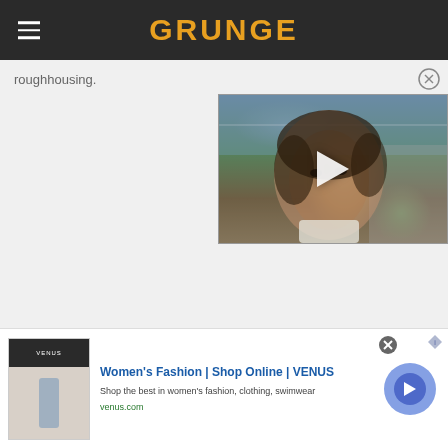GRUNGE
roughhousing.
[Figure (photo): Video thumbnail showing a man's face with play button overlay, outdoor background]
[Figure (screenshot): Advertisement for Women's Fashion | Shop Online | VENUS. Shop the best in women's fashion, clothing, swimwear. venus.com]